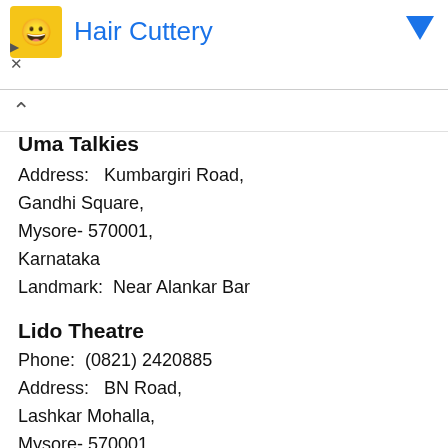[Figure (screenshot): Advertisement banner for Hair Cuttery with yellow logo and blue text]
Uma Talkies
Address:   Kumbargiri Road,
Gandhi Square,
Mysore- 570001,
Karnataka
Landmark:  Near Alankar Bar
Lido Theatre
Phone:  (0821) 2420885
Address:   BN Road,
Lashkar Mohalla,
Mysore- 570001,
Karnataka
Landmark:  Opposite Woodland Theatre